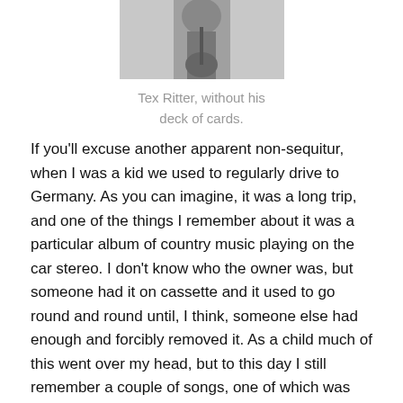[Figure (photo): Black and white photo of Tex Ritter, partially visible, cropped at top]
Tex Ritter, without his deck of cards.
If you’ll excuse another apparent non-sequitur, when I was a kid we used to regularly drive to Germany. As you can imagine, it was a long trip, and one of the things I remember about it was a particular album of country music playing on the car stereo. I don’t know who the owner was, but someone had it on cassette and it used to go round and round until, I think, someone else had enough and forcibly removed it. As a child much of this went over my head, but to this day I still remember a couple of songs, one of which was Tex Ritter’s Deck of Cards.
This particular song, if you can call it a song, is about a